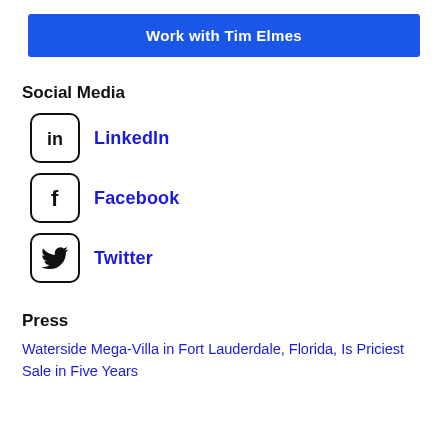Work with Tim Elmes
Social Media
LinkedIn
Facebook
Twitter
Press
Waterside Mega-Villa in Fort Lauderdale, Florida, Is Priciest Sale in Five Years